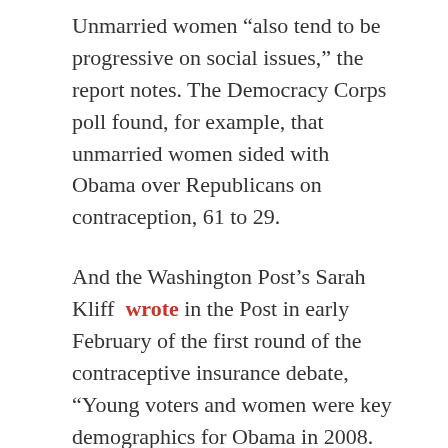Unmarried women “also tend to be progressive on social issues,” the report notes. The Democracy Corps poll found, for example, that unmarried women sided with Obama over Republicans on contraception, 61 to 29.
And the Washington Post’s Sarah Kliff wrote in the Post in early February of the first round of the contraceptive insurance debate, “Young voters and women were key demographics for Obama in 2008. By hitting hard on a policy they strongly support, and moving the conversation away from abortion politics, the campaign may have found a new way to reach them.”
The key is getting them to show up. “The participation of unmarried women cannot be